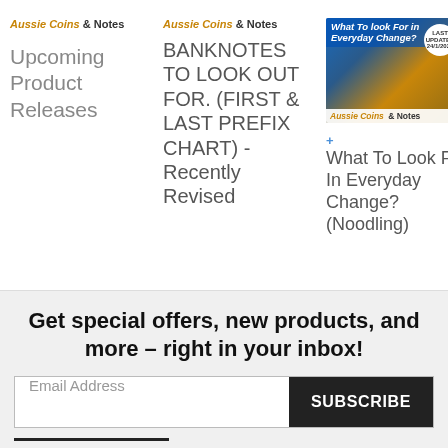Aussie Coins & Notes
Upcoming Product Releases
Aussie Coins & Notes
BANKNOTES TO LOOK OUT FOR. (FIRST & LAST PREFIX CHART) - Recently Revised
[Figure (photo): Thumbnail image for 'What To Look For In Everyday Change? (Noodling)' article on Aussie Coins & Notes website, showing coins and a hand with a blue overlay header and a circular badge]
What To Look For In Everyday Change? (Noodling)
Get special offers, new products, and more – right in your inbox!
Email Address
SUBSCRIBE
My Account
Track Order
Message